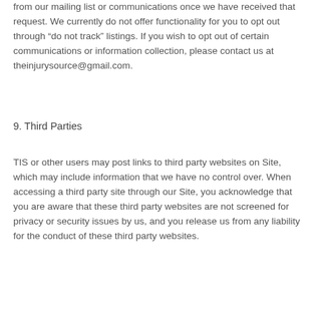from our mailing list or communications once we have received that request.  We currently do not offer functionality for you to opt out through “do not track” listings. If you wish to opt out of certain communications or information collection, please contact us at theinjurysource@gmail.com.
9. Third Parties
TIS or other users may post links to third party websites on Site, which may include information that we have no control over.  When accessing a third party site through our Site, you acknowledge that you are aware that these third party websites are not screened for privacy or security issues by us, and you release us from any liability for the conduct of these third party websites.